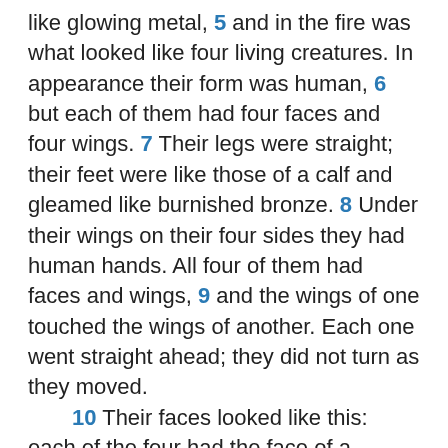like glowing metal, 5 and in the fire was what looked like four living creatures. In appearance their form was human, 6 but each of them had four faces and four wings. 7 Their legs were straight; their feet were like those of a calf and gleamed like burnished bronze. 8 Under their wings on their four sides they had human hands. All four of them had faces and wings, 9 and the wings of one touched the wings of another. Each one went straight ahead; they did not turn as they moved.
10 Their faces looked like this: each of the four had the face of a human being, and on the right side each had the face of a lion, and on the left the face of an ox; each also had the face of an eagle. 11 Such were their faces. They each had two wings spreading out upwards, each wing touching that of the creature on either side; and each had two other wings covering its body. 12 Each one went straight ahead. Wherever the spirit would go, they would go, without turning as they went. 13 The appearance of the